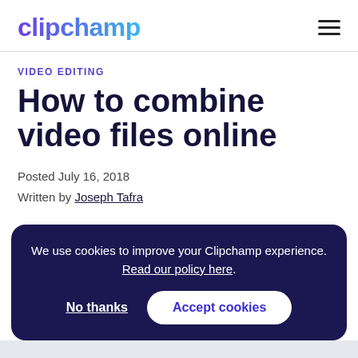clipchamp
VIDEO EDITING
How to combine video files online
Posted July 16, 2018
Written by Joseph Tafra
We use cookies to improve your Clipchamp experience. Read our policy here.
No thanks
Accept cookies